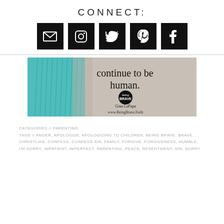CONNECT:
[Figure (infographic): Five social media icon buttons (email, Instagram, Twitter, Pinterest, Facebook) as white icons on black square backgrounds]
[Figure (photo): Promotional banner image with teal fabric fringe on left side, text 'continue to be human.' overlaid, with Being Brave logo circle, Gina LaPapa name, and www.BeingBrave.Faith URL on a grey-beige background]
CATEGORIES // PARENTING
TAGS // ANGER, APOLOGIZE, APOLOGIZING TO CHILDREN, BEING BRAVE, BRAVE, CHRISTLIKE, CONFESS, CONFESS SIN, FAMILY, FORGIVE, FORGIVENESS, HUMBLE, I'M SORRY, IMPATIENT, IMPERFECT, PARENTING, PEACE, RESENTMENT, SIN, SORRY